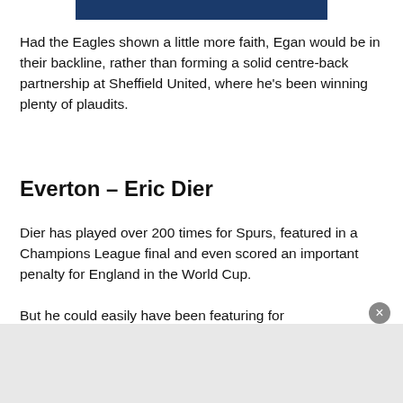[Figure (other): Partial image bar at top, dark navy blue rectangle]
Had the Eagles shown a little more faith, Egan would be in their backline, rather than forming a solid centre-back partnership at Sheffield United, where he's been winning plenty of plaudits.
Everton – Eric Dier
Dier has played over 200 times for Spurs, featured in a Champions League final and even scored an important penalty for England in the World Cup.
But he could easily have been featuring for Everton had they not snubbed him in 2011